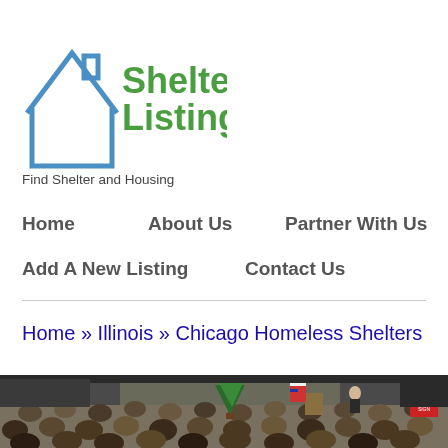[Figure (logo): ShelterListings.org logo with house outline in blue and green text]
Find Shelter and Housing
Home
About Us
Partner With Us
Add A New Listing
Contact Us
Home » Illinois » Chicago Homeless Shelters
[Figure (photo): A large indoor gathering with many people seated facing a stage where a speaker stands at a podium, with a Christmas tree and American flag visible]